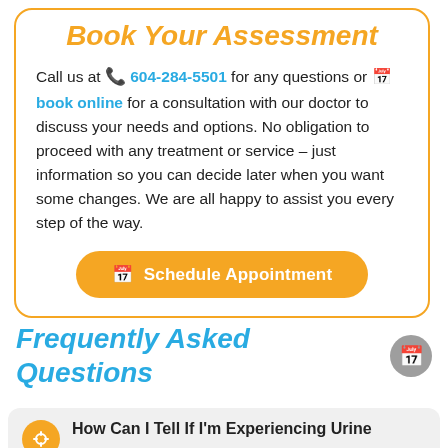Book Your Assessment
Call us at 📞 604-284-5501 for any questions or 📅 book online for a consultation with our doctor to discuss your needs and options. No obligation to proceed with any treatment or service – just information so you can decide later when you want some changes. We are all happy to assist you every step of the way.
📅 Schedule Appointment
Frequently Asked Questions
How Can I Tell If I'm Experiencing Urine